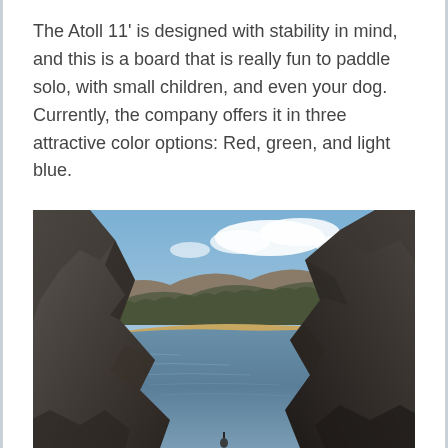The Atoll 11' is designed with stability in mind, and this is a board that is really fun to paddle solo, with small children, and even your dog. Currently, the company offers it in three attractive color options: Red, green, and light blue.
[Figure (photo): Outdoor photograph of a mountain lake viewed from between large rocky formations in the foreground. The lake is surrounded by forested hills and mountains under a partly cloudy blue sky. A sandy shoreline is visible on the far side of the lake.]